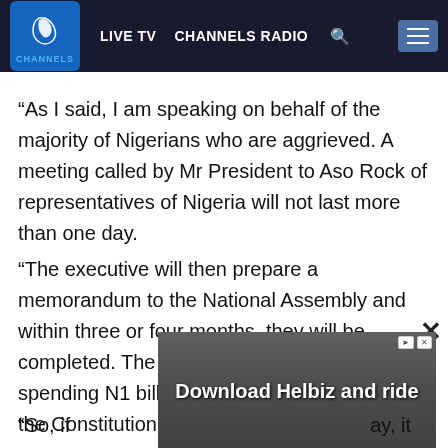LIVE TV  CHANNELS RADIO  [search]  [menu]
“As I said, I am speaking on behalf of the majority of Nigerians who are aggrieved. A meeting called by Mr President to Aso Rock of representatives of Nigeria will not last more than one day.
“The executive will then prepare a memorandum to the National Assembly and within three or four months, they will be completed. The National Assembly has been spending N1 billion every year on amending the Constitution of Nigeria for years …
[Figure (photo): Advertisement overlay showing a scooter image with text 'Download Helbiz and ride']
“So, if … ay, it means it lacks power under President Buhari to